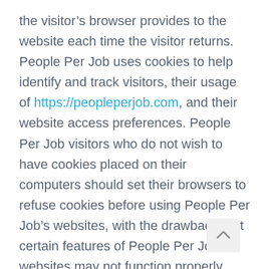the visitor's browser provides to the website each time the visitor returns. People Per Job uses cookies to help identify and track visitors, their usage of https://peopleperjob.com, and their website access preferences. People Per Job visitors who do not wish to have cookies placed on their computers should set their browsers to refuse cookies before using People Per Job's websites, with the drawback that certain features of People Per Job's websites may not function properly without the aid of cookies.
By continuing to navigate our website without changing your cookie settings, you hereby acknowledge and agree to People Per Job's use of cookies.